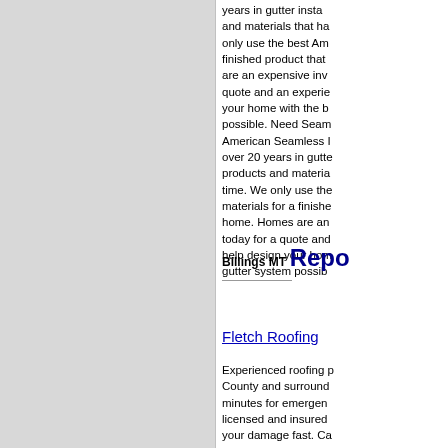years in gutter insta... and materials that ha... only use the best Am... finished product that ... are an expensive inv... quote and an experie... your home with the b... possible. Need Seam... American Seamless ... over 20 years in gutte... products and materia... time. We only use the... materials for a finishe... home. Homes are an... today for a quote and... help design your hom... gutter system possib...
Billings MT  Repo...
Fletch Roofing
Experienced roofing p... County and surround... minutes for emergen... licensed and insured ... your damage fast. Ca... Experienced roofing p... County and surround... minutes for emergen... licensed and insured ... your damage fast. Ca...
Nationwide US  Re...